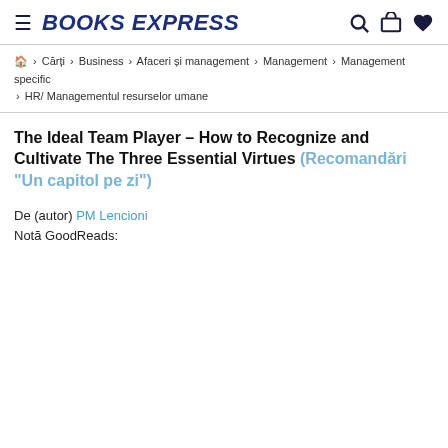BOOKS EXPRESS
Cărți › Business › Afaceri și management › Management › Management specific › HR/ Managementul resurselor umane
The Ideal Team Player – How to Recognize and Cultivate The Three Essential Virtues (Recomandări "Un capitol pe zi")
De (autor) PM Lencioni
Notă GoodReads: